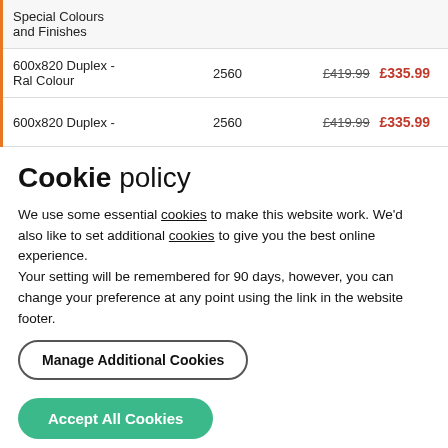| Product | Qty | Price |
| --- | --- | --- |
| Special Colours and Finishes |  |  |
| 600x820 Duplex - Ral Colour | 2560 | £419.99  £335.99 |
| 600x820 Duplex - | 2560 | £419.99  £335.99 |
Cookie policy
We use some essential cookies to make this website work. We'd also like to set additional cookies to give you the best online experience.
Your setting will be remembered for 90 days, however, you can change your preference at any point using the link in the website footer.
Manage Additional Cookies
Accept All Cookies